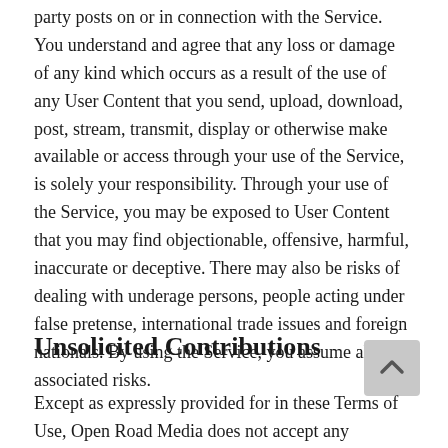party posts on or in connection with the Service. You understand and agree that any loss or damage of any kind which occurs as a result of the use of any User Content that you send, upload, download, post, stream, transmit, display or otherwise make available or access through your use of the Service, is solely your responsibility. Through your use of the Service, you may be exposed to User Content that you may find objectionable, offensive, harmful, inaccurate or deceptive. There may also be risks of dealing with underage persons, people acting under false pretense, international trade issues and foreign nationals. By using the Service, you assume all associated risks.
Unsolicited Contributions
Except as expressly provided for in these Terms of Use, Open Road Media does not accept any unsolicited ideas from Users, including without limitation suggestions about books, themes, stories, other video content. The aforementioned submit